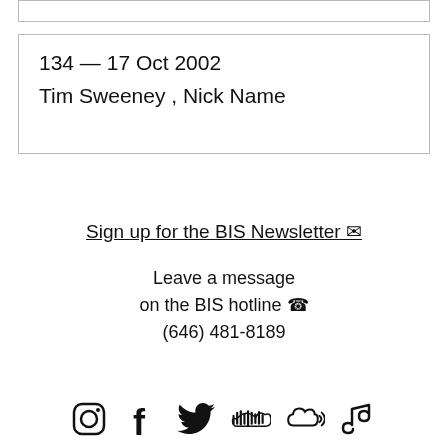134 — 17 Oct 2002
Tim Sweeney , Nick Name
Sign up for the BIS Newsletter ✉
Leave a message
on the BIS hotline ☎
(646) 481-8189
[Figure (other): Social media icons row: Instagram, Facebook, Twitter, SoundCloud, cloud streaming, Jingle (music note platform)]